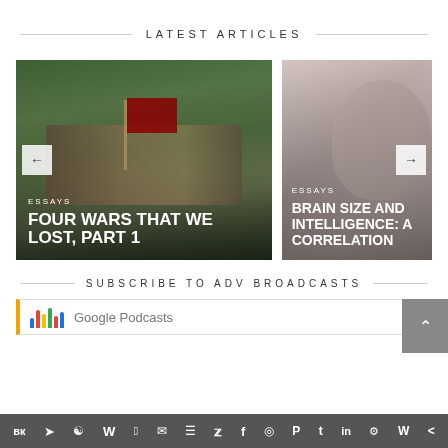LATEST ARTICLES
[Figure (photo): Article card showing Civil War soldiers on horseback with Confederate flag in a forest, with overlay text 'ESSAYS' and 'FOUR WARS THAT WE LOST, PART 1']
[Figure (photo): Article card showing a bearded man's profile with brain overlay on pink background, with overlay text 'ESSAYS' and 'BRAIN SIZE AND INTELLIGENCE: A CORRELATION']
SUBSCRIBE TO ADV BROADCASTS
[Figure (screenshot): Google Podcasts subscription bar with orange left border and colorful microphone icon]
[Figure (infographic): Social media share bar with icons for VK, Telegram, Reddit, WordPress, WhatsApp, Email, Buffer, Twitter, Facebook, Instagram, Pinterest, Tumblr, LinkedIn, Share, Webtoon, and More]